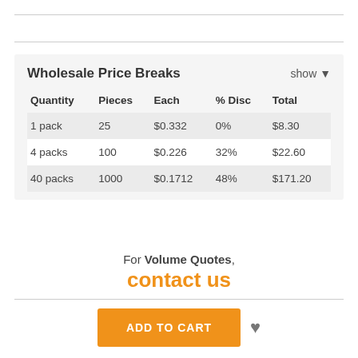| Quantity | Pieces | Each | % Disc | Total |
| --- | --- | --- | --- | --- |
| 1 pack | 25 | $0.332 | 0% | $8.30 |
| 4 packs | 100 | $0.226 | 32% | $22.60 |
| 40 packs | 1000 | $0.1712 | 48% | $171.20 |
For Volume Quotes,
contact us
ADD TO CART